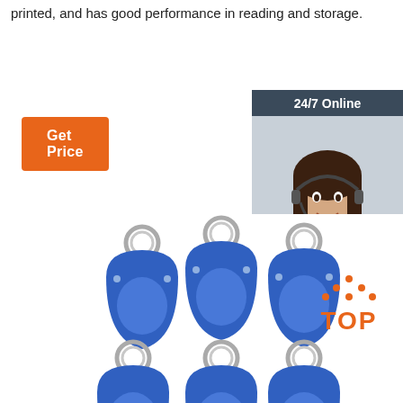The label surface is covered with a waterproof film, which can be printed, and has good performance in reading and storage.
[Figure (other): Orange 'Get Price' button]
[Figure (photo): 24/7 Online customer service representative sidebar with chat and quotation button]
[Figure (photo): Blue RFID key fobs with metal key rings, multiple units shown]